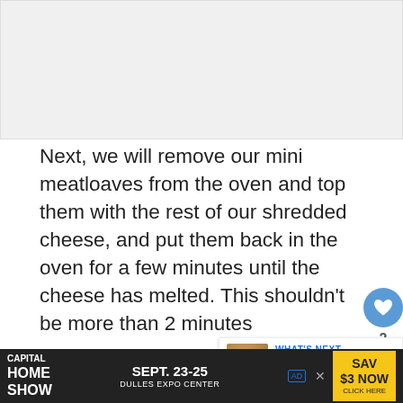[Figure (photo): Food photo placeholder area at top of page]
Next, we will remove our mini meatloaves from the oven and top them with the rest of our shredded cheese, and put them back in the oven for a few minutes until the cheese has melted. This shouldn't be more than 2 minutes
Tip: When ready to serve, top with the leftover marinara sauce and use the fresh basil leaves as a garnish.
Are you ready for another twist? This classic meal makes for great leftovers the next day, or days. All yo...
[Figure (infographic): Advertisement banner: Capital Home Show Sept. 23-25 Dulles Expo Center Save $3 Now Click Here]